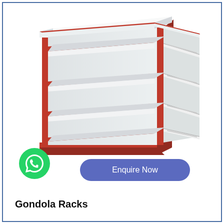[Figure (photo): A gondola rack with red metal frame and white shelves, shown in a 3/4 perspective view. The rack has 4 shelves on the left side and 4 smaller shelves on the right side (double-sided), with red shelf label strips.]
[Figure (logo): WhatsApp icon button — green circle with white WhatsApp phone/chat logo inside]
Enquire Now
Gondola Racks